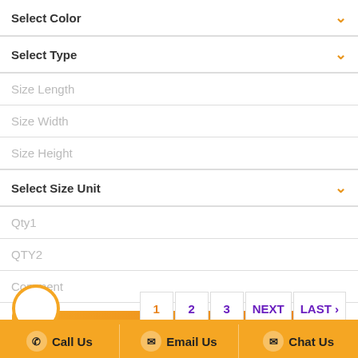Select Color
Select Type
Size Length
Size Width
Size Height
Select Size Unit
Qty1
QTY2
Comment
Request For Discount
1  2  3  NEXT  LAST ›
Call Us  Email Us  Chat Us